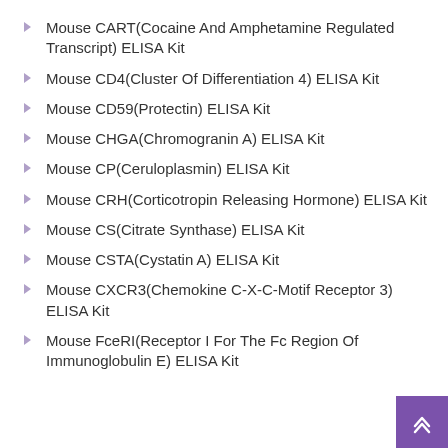Mouse CART(Cocaine And Amphetamine Regulated Transcript) ELISA Kit
Mouse CD4(Cluster Of Differentiation 4) ELISA Kit
Mouse CD59(Protectin) ELISA Kit
Mouse CHGA(Chromogranin A) ELISA Kit
Mouse CP(Ceruloplasmin) ELISA Kit
Mouse CRH(Corticotropin Releasing Hormone) ELISA Kit
Mouse CS(Citrate Synthase) ELISA Kit
Mouse CSTA(Cystatin A) ELISA Kit
Mouse CXCR3(Chemokine C-X-C-Motif Receptor 3) ELISA Kit
Mouse FceRI(Receptor I For The Fc Region Of Immunoglobulin E) ELISA Kit